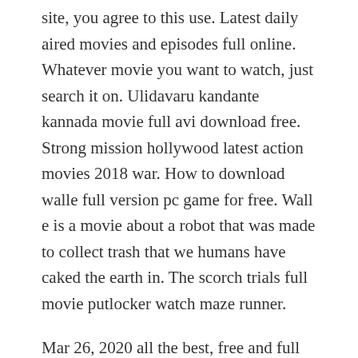site, you agree to this use. Latest daily aired movies and episodes full online. Whatever movie you want to watch, just search it on. Ulidavaru kandante kannada movie full avi download free. Strong mission hollywood latest action movies 2018 war. How to download walle full version pc game for free. Wall e is a movie about a robot that was made to collect trash that we humans have caked the earth in. The scorch trials full movie putlocker watch maze runner.
Mar 26, 2020 all the best, free and full length feature film...